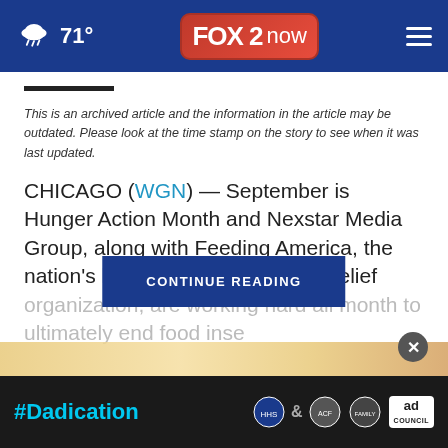71° FOX 2 now
This is an archived article and the information in the article may be outdated. Please look at the time stamp on the story to see when it was last updated.
CHICAGO (WGN) — September is Hunger Action Month and Nexstar Media Group, along with Feeding America, the nation's largest domestic hunger relief organization, are working hard all month to ultimately end food inse...
[Figure (screenshot): CONTINUE READING button overlay on article text]
[Figure (screenshot): #Dadication ad banner at bottom with HHS ACF and Ad Council logos]